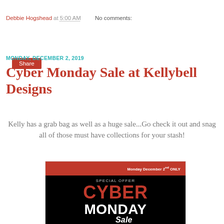Debbie Hogshead at 5:00 AM    No comments:
Share
MONDAY, DECEMBER 2, 2019
Cyber Monday Sale at Kellybell Designs
Kelly has a grab bag as well as a huge sale...Go check it out and snag all of those must have collections for your stash!
[Figure (photo): Cyber Monday Sale promotional banner for Kellybell Designs: black and red graphic with text 'Monday December 2nd ONLY', 'SPECIAL OFFER', 'CYBER MONDAY' in large letters with a sale badge.]